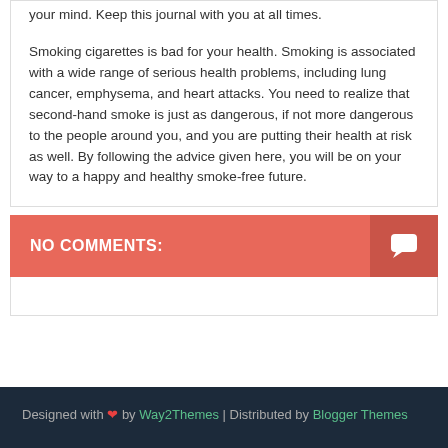your mind. Keep this journal with you at all times.
Smoking cigarettes is bad for your health. Smoking is associated with a wide range of serious health problems, including lung cancer, emphysema, and heart attacks. You need to realize that second-hand smoke is just as dangerous, if not more dangerous to the people around you, and you are putting their health at risk as well. By following the advice given here, you will be on your way to a happy and healthy smoke-free future.
NO COMMENTS:
Designed with ❤ by Way2Themes | Distributed by Blogger Themes